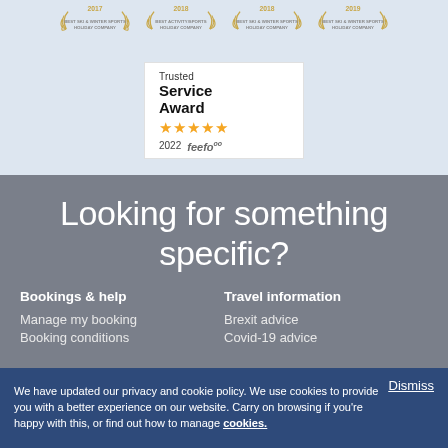[Figure (logo): Four award badge icons in a row at top: Best Ski & Winter Sports Holiday Company (2017), Best Activity/Sports Holiday Company (2018), Best Ski & Winter Sports Holiday Company (2018), Best Ski & Winter Sports Holiday Company (2019)]
[Figure (logo): Trusted Service Award 2022 feefo box with 5 gold stars]
Looking for something specific?
Bookings & help
Travel information
Manage my booking
Booking conditions
Brexit advice
Covid-19 advice
We have updated our privacy and cookie policy. We use cookies to provide you with a better experience on our website. Carry on browsing if you're happy with this, or find out how to manage cookies.
Dismiss